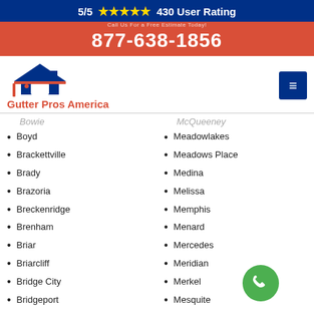5/5 ★★★★★ 430 User Rating
877-638-1856
[Figure (logo): Gutter Pros America logo with house icon]
Bowie (partial/faded)
Boyd
Brackettville
Brady
Brazoria
Breckenridge
Brenham
Briar
Briarcliff
Bridge City
Bridgeport
Brookshire
Brookside Village
Brownfield
McQueeney (partial/faded)
Meadowlakes
Meadows Place
Medina
Melissa
Memphis
Menard
Mercedes
Meridian
Merkel
Mesquite
Mexia
Midland
Midlothian